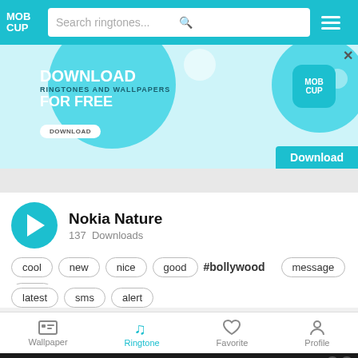MOB CUP — Search ringtones...
[Figure (screenshot): MobCup app advertisement banner: Download Ringtones and Wallpapers for Free, with teal circular design elements and MobCup logo]
Nokia Nature
137  Downloads
cool
new
nice
good
#bollywood
message
tone
latest
sms
alert
Wallpaper  Ringtone  Favorite  Profile
[Figure (screenshot): BitLife advertisement: Now with GOD MODE]